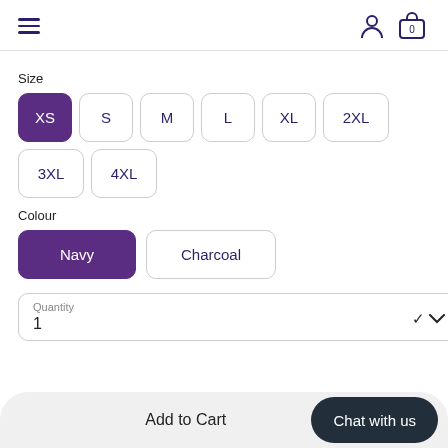[Figure (screenshot): Navigation header with hamburger menu, person icon, and shopping bag icon showing 0 items]
Size
XS (selected), S, M, L, XL, 2XL, 3XL, 4XL
Colour
Navy (selected), Charcoal
Quantity
1
Add to Cart
Chat with us